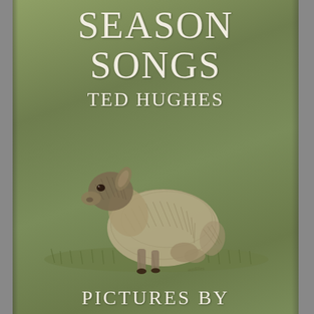SEASON SONGS TED HUGHES
[Figure (illustration): Pencil or etching-style drawing of a young lamb sitting in grass on a green background, rendered in dark brown/grey tones]
PICTURES BY